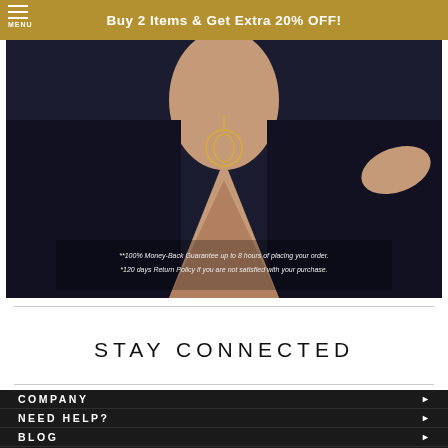Buy 2 Items & Get Extra 20% OFF!
[Figure (photo): Photo of a person wearing dark clothing and a necklace/jewelry piece, with overlay text: '**100% Money-Back Guarantee up to 8 hours of placing your order. *120 days Return Policy if you are not satisfied with your purchase.']
STAY CONNECTED
COMPANY ►
NEED HELP? ►
BLOG ►
CUSTOMER CARE ►